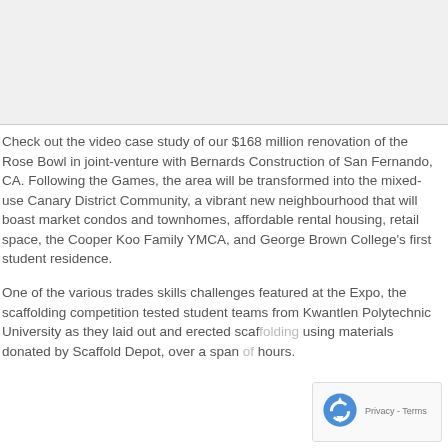[Figure (photo): Video case study thumbnail or image placeholder at top of page]
Check out the video case study of our $168 million renovation of the Rose Bowl in joint-venture with Bernards Construction of San Fernando, CA. Following the Games, the area will be transformed into the mixed-use Canary District Community, a vibrant new neighbourhood that will boast market condos and townhomes, affordable rental housing, retail space, the Cooper Koo Family YMCA, and George Brown College's first student residence.
One of the various trades skills challenges featured at the Expo, the scaffolding competition tested student teams from Kwantlen Polytechnic University as they laid out and erected scaffolding using materials donated by Scaffold Depot, over a span of hours.